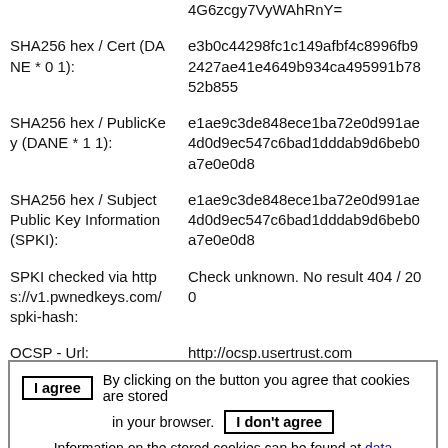4G6zcgy7VyWAhRnY=
SHA256 hex / Cert (DANE * 0 1): e3b0c44298fc1c149afbf4c8996fb92427ae41e4649b934ca495991b7852b855
SHA256 hex / PublicKey (DANE * 1 1): e1ae9c3de848ece1ba72e0d991ae4d0d9ec547c6bad1dddab9d6beb0a7e0e0d8
SHA256 hex / Subject Public Key Information (SPKI): e1ae9c3de848ece1ba72e0d991ae4d0d9ec547c6bad1dddab9d6beb0a7e0e0d8
SPKI checked via https://v1.pwnedkeys.com/spki-hash: Check unknown. No result 404 / 20 0
OCSP - Url: http://ocsp.usertrust.com
OCSP - ...
I agree  By clicking on the button you agree that cookies are stored in your browser.  I don't agree  Information on the stored cookies can be found at data protection#Cookies.